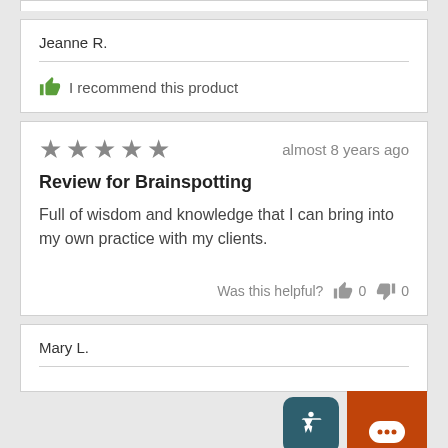Jeanne R.
I recommend this product
★★★★★  almost 8 years ago
Review for Brainspotting
Full of wisdom and knowledge that I can bring into my own practice with my clients.
Was this helpful? 0  0
Mary L.